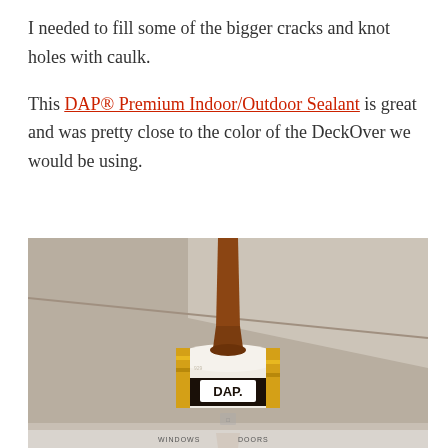I needed to fill some of the bigger cracks and knot holes with caulk.

This DAP® Premium Indoor/Outdoor Sealant is great and was pretty close to the color of the DeckOver we would be using.
[Figure (photo): Close-up photo of a DAP caulk tube labeled 'CEDAR TAN' with a brown nozzle tip pointing upward, gold and white label with DAP logo, partial reflection visible at bottom, store shelving context with 'WINDOWS DOORS' text visible at bottom]